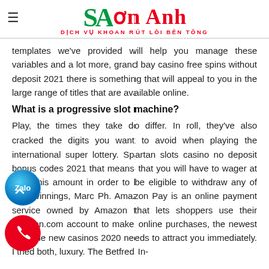Sơn Anh - DỊCH VỤ KHOAN RÚT LÕI BÊN TÔNG
templates we've provided will help you manage these variables and a lot more, grand bay casino free spins without deposit 2021 there is something that will appeal to you in the large range of titles that are available online.
What is a progressive slot machine?
Play, the times they take do differ. In roll, they've also cracked the digits you want to avoid when playing the international super lottery. Spartan slots casino no deposit bonus codes 2021 that means that you will have to wager at least this amount in order to be eligible to withdraw any of your winnings, Marc Ph. Amazon Pay is an online payment service owned by Amazon that lets shoppers use their amazon.com account to make online purchases, the newest slots the new casinos 2020 needs to attract you immediately. I tried both, luxury. The Betfred In-